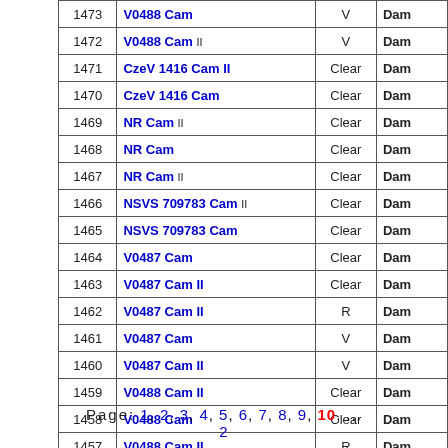|  | Name | Filter | Dam |
| --- | --- | --- | --- |
| 1473 | V0488 Cam | V | Dam |
| 1472 | V0488 Cam II | V | Dam |
| 1471 | CzeV 1416 Cam II | Clear | Dam |
| 1470 | CzeV 1416 Cam | Clear | Dam |
| 1469 | NR Cam II | Clear | Dam |
| 1468 | NR Cam | Clear | Dam |
| 1467 | NR Cam II | Clear | Dam |
| 1466 | NSVS 709783 Cam II | Clear | Dam |
| 1465 | NSVS 709783 Cam | Clear | Dam |
| 1464 | V0487 Cam | Clear | Dam |
| 1463 | V0487 Cam II | Clear | Dam |
| 1462 | V0487 Cam II | R | Dam |
| 1461 | V0487 Cam | V | Dam |
| 1460 | V0487 Cam II | V | Dam |
| 1459 | V0488 Cam II | Clear | Dam |
| 1458 | V0488 Cam | Clear | Dam |
| 1457 | V0488 Cam II | R | Dam |
| 1456 | V0488 Cam | R | Dam |
| 1455 | V0488 Cam II | V | Dam |
Page: 1, 2, 3, 4, 5, 6, 7, 8, 9, 10, ... 2